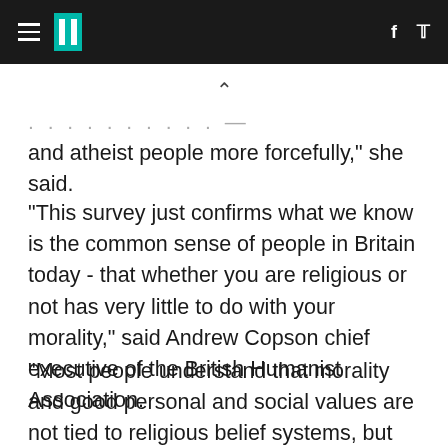HuffPost UK navigation bar with hamburger menu, logo, Facebook and Twitter icons
and atheist people more forcefully," she said.
"This survey just confirms what we know is the common sense of people in Britain today - that whether you are religious or not has very little to do with your morality," said Andrew Copson chief executive of the British Humanist Association.
"Most people understand that morality and good personal and social values are not tied to religious belief systems, but are the result of our common heritage and experience as human